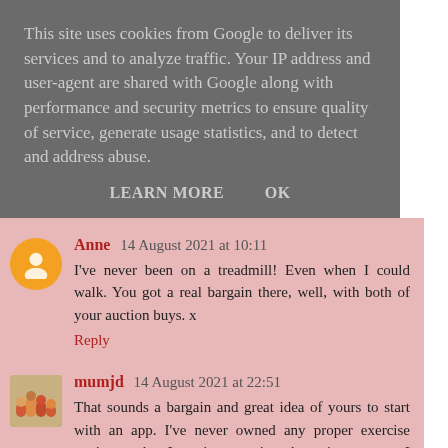This site uses cookies from Google to deliver its services and to analyze traffic. Your IP address and user-agent are shared with Google along with performance and security metrics to ensure quality of service, generate usage statistics, and to detect and address abuse.
LEARN MORE    OK
Anne  14 August 2021 at 10:11
I've never been on a treadmill! Even when I could walk. You got a real bargain there, well, with both of your auction buys. x
Reply
mumjd  14 August 2021 at 22:51
That sounds a bargain and great idea of yours to start with an app. I've never owned any proper exercise equipment but I got into running about 4 years ago. I have no ambition to do anything long distance but I do enjoy plodidng along at the back of parkrun and am happy that it has finally restarted